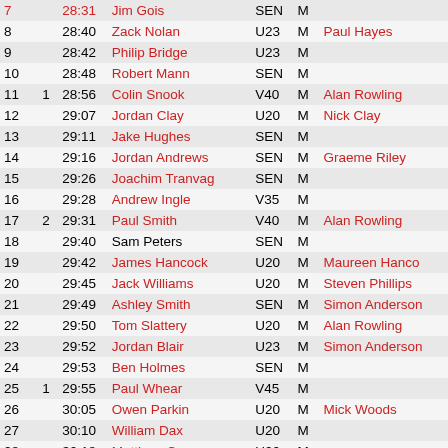| Pos | Cat | Time | Name | Age | Gen | Coach/Club |
| --- | --- | --- | --- | --- | --- | --- |
| 7 |  | 28:31 | Jim Gois | SEN | M |  |
| 8 |  | 28:40 | Zack Nolan | U23 | M | Paul Hayes |
| 9 |  | 28:42 | Philip Bridge | U23 | M |  |
| 10 |  | 28:48 | Robert Mann | SEN | M |  |
| 11 | 1 | 28:56 | Colin Snook | V40 | M | Alan Rowling |
| 12 |  | 29:07 | Jordan Clay | U20 | M | Nick Clay |
| 13 |  | 29:11 | Jake Hughes | SEN | M |  |
| 14 |  | 29:16 | Jordan Andrews | SEN | M | Graeme Riley |
| 15 |  | 29:26 | Joachim Tranvag | SEN | M |  |
| 16 |  | 29:28 | Andrew Ingle | V35 | M |  |
| 17 | 2 | 29:31 | Paul Smith | V40 | M | Alan Rowling |
| 18 |  | 29:40 | Sam Peters | SEN | M |  |
| 19 |  | 29:42 | James Hancock | U20 | M | Maureen Hancock |
| 20 |  | 29:45 | Jack Williams | U20 | M | Steven Phillips |
| 21 |  | 29:49 | Ashley Smith | SEN | M | Simon Anderson |
| 22 |  | 29:50 | Tom Slattery | U20 | M | Alan Rowling |
| 23 |  | 29:52 | Jordan Blair | U23 | M | Simon Anderson |
| 24 |  | 29:53 | Ben Holmes | SEN | M |  |
| 25 | 1 | 29:55 | Paul Whear | V45 | M |  |
| 26 |  | 30:05 | Owen Parkin | U20 | M | Mick Woods |
| 27 |  | 30:10 | William Dax | U20 | M |  |
| 28 |  | 30:18 | Matthew Crew | U20 | M |  |
| 29 | 3 | 30:25 | John Porter | V40 | M | Graeme Riley |